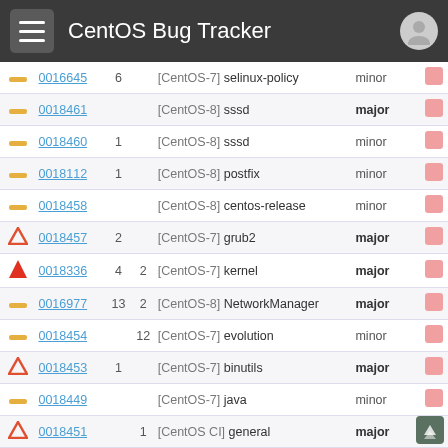CentOS Bug Tracker
|  | ID | Notes | Replies | Project | Severity |  |
| --- | --- | --- | --- | --- | --- | --- |
| — | 0016645 | 6 |  | [CentOS-7] selinux-policy | minor |  |
| — | 0018461 |  |  | [CentOS-8] sssd | major |  |
| — | 0018460 | 1 |  | [CentOS-8] sssd | minor |  |
| — | 0018112 | 1 |  | [CentOS-8] postfix | minor |  |
| — | 0018458 |  |  | [CentOS-8] centos-release | minor |  |
| ^ | 0018457 | 2 |  | [CentOS-7] grub2 | major |  |
| ↑ | 0018336 | 4 | 2 | [CentOS-7] kernel | major |  |
| — | 0016977 | 13 | 2 | [CentOS-8] NetworkManager | major |  |
| — | 0018454 |  | 12 | [CentOS-7] evolution | minor |  |
| ^ | 0018453 | 1 |  | [CentOS-7] binutils | major |  |
| — | 0018449 |  |  | [CentOS-7] java | minor |  |
| ^ | 0018451 |  | 1 | [CentOS CI] general | major |  |
| — | 0018447 |  |  | [CentOS CI] cockpit | minor |  |
| — | 0018445 | 2 | 1 | [CentOS CI] general | block |  |